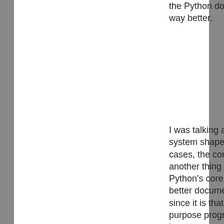the Python documentation is way better.
I was talking about the help system shape and use cases, the contents are another thing 😉 (And that Python's core syntax is better documented is logical, since it is that of a general-purpose programming language, more complex than a